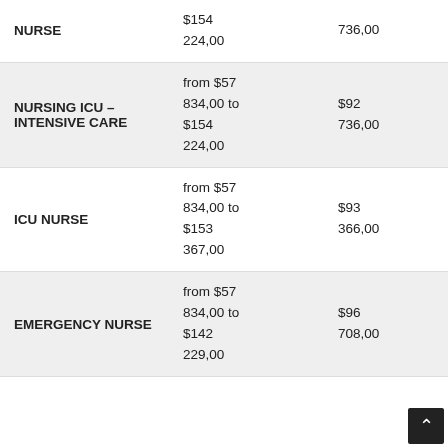| Role | Salary Range |  |
| --- | --- | --- |
| NURSE | $154
224,00 | 736,00 |
| NURSING ICU – INTENSIVE CARE | from $57
834,00 to
$154
224,00 | $92
736,00 |
| ICU NURSE | from $57
834,00 to
$153
367,00 | $93
366,00 |
| EMERGENCY NURSE | from $57
834,00 to
$142
229,00 | $96
708,00 |